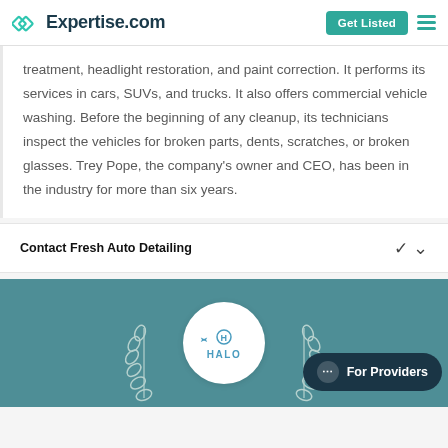Expertise.com — Get Listed
treatment, headlight restoration, and paint correction. It performs its services in cars, SUVs, and trucks. It also offers commercial vehicle washing. Before the beginning of any cleanup, its technicians inspect the vehicles for broken parts, dents, scratches, or broken glasses. Trey Pope, the company's owner and CEO, has been in the industry for more than six years.
Contact Fresh Auto Detailing
[Figure (logo): HALO company badge/logo on teal background with laurel wreath decoration and a For Providers chat button]